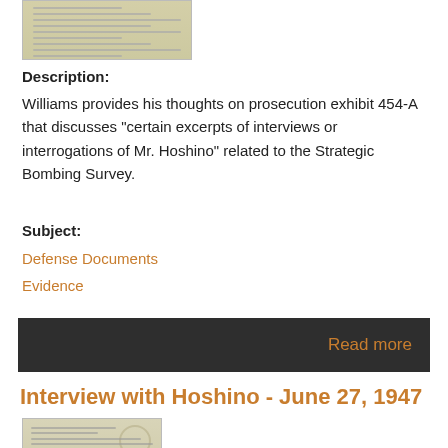[Figure (photo): Thumbnail image of a historical document with handwritten text, yellowed paper appearance]
Description:
Williams provides his thoughts on prosecution exhibit 454-A that discusses "certain excerpts of interviews or interrogations of Mr. Hoshino" related to the Strategic Bombing Survey.
Subject:
Defense Documents
Evidence
Read more
Interview with Hoshino - June 27, 1947
[Figure (photo): Thumbnail image of a historical typed document with circular stamp, yellowed paper appearance]